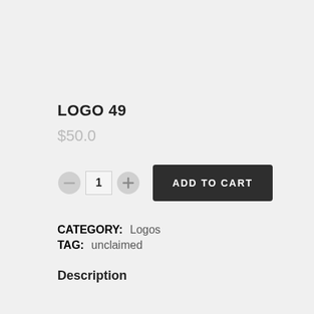LOGO 49
$50.0
[Figure (other): Quantity selector with minus button, quantity box showing 1, plus button, and Add to Cart dark button]
CATEGORY: Logos
TAG: unclaimed
Description